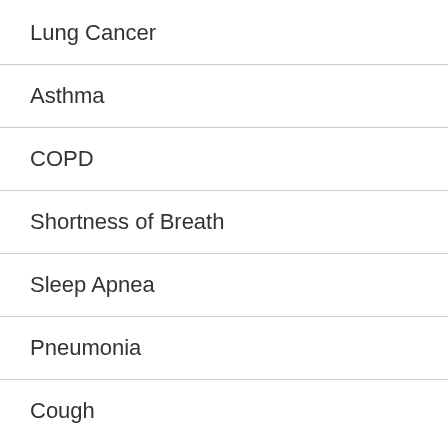Lung Cancer
Asthma
COPD
Shortness of Breath
Sleep Apnea
Pneumonia
Cough